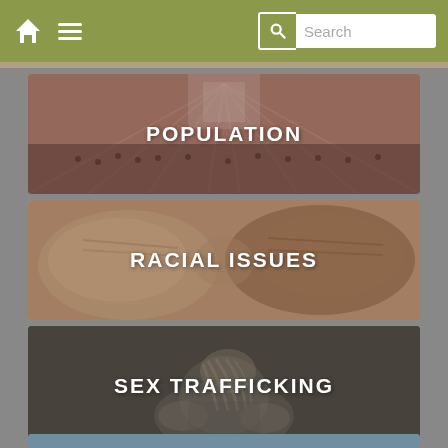Navigation bar with home icon, menu icon, and search field
[Figure (photo): Aerial view of a large crowd of people in a public space, with architectural ceiling ribs visible above. Overlay text reads POPULATION.]
[Figure (photo): Close-up of two fists bumping or confronting each other representing racial tension. Overlay text reads RACIAL ISSUES.]
[Figure (photo): Dimly lit image of a person hunched over, representing vulnerability. Overlay text reads SEX TRAFFICKING.]
[Figure (photo): Partial view of a fourth category card at the bottom of the page.]